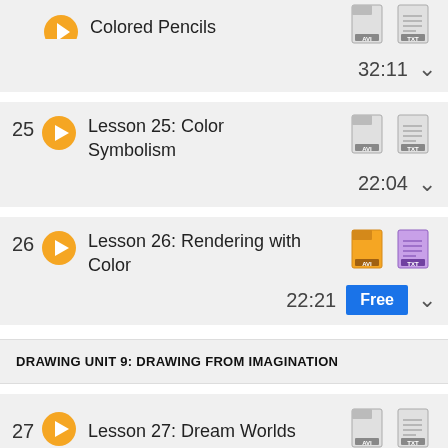Colored Pencils — 32:11
25 — Lesson 25: Color Symbolism — 22:04
26 — Lesson 26: Rendering with Color — 22:21 — Free
DRAWING UNIT 9: DRAWING FROM IMAGINATION
27 — Lesson 27: Dream Worlds — 16:55